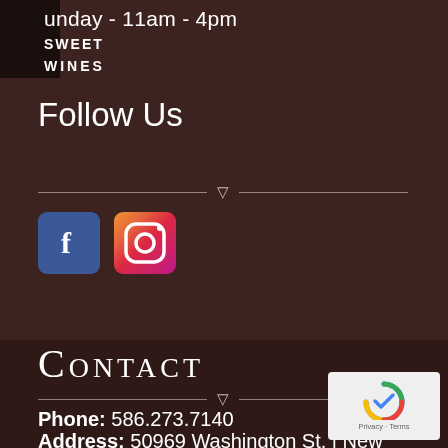unday - 11am - 4pm
SWEET
WINES
Follow Us
[Figure (other): Facebook and Instagram social media icon buttons]
CONTACT
Phone: 586.273.7140
Address: 50969 Washington St. | New